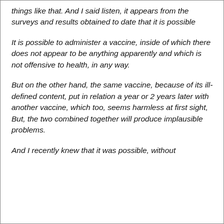things like that. And I said listen, it appears from the surveys and results obtained to date that it is possible
It is possible to administer a vaccine, inside of which there does not appear to be anything apparently and which is not offensive to health, in any way.
But on the other hand, the same vaccine, because of its ill-defined content, put in relation a year or 2 years later with another vaccine, which too, seems harmless at first sight, But, the two combined together will produce implausible problems.
And I recently knew that it was possible, without